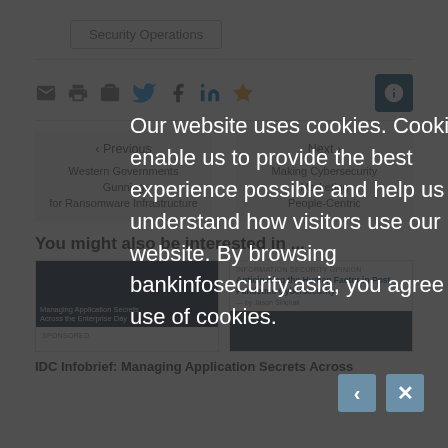Security Operations
[Figure (infographic): Social sharing icons: email, print, briefcase, Twitter, Facebook, LinkedIn, star/bookmark, and an info button (blue box with i)]
[Figure (infographic): Previous/Next navigation: Previous - Western Governments Gunning for Ransomware Infrastructure; Next - Making Cybersecurity Marketing People-Centric]
You might also be interested in ...
[Figure (infographic): Article card: Managing Application Secrets... IDC Infobrief]
[Figure (infographic): Article card: Anticipating the Human Factor in Post-Pandemic Cybersecurity]
IDC Infobrief: Managing Application Secrets Across
Our website uses cookies. Cookies enable us to provide the best experience possible and help us understand how visitors use our website. By browsing bankinfosecurity.asia, you agree to our use of cookies.